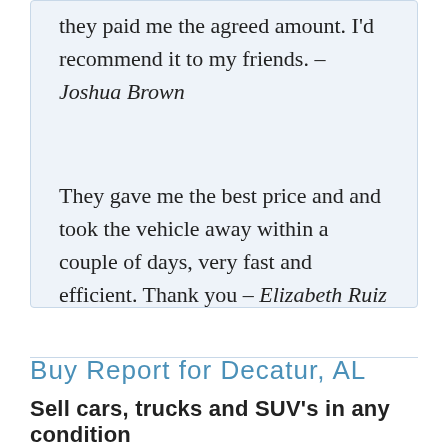they paid me the agreed amount. I'd recommend it to my friends. – Joshua Brown
They gave me the best price and and took the vehicle away within a couple of days, very fast and efficient. Thank you – Elizabeth Ruiz
Buy Report for Decatur, AL
Sell cars, trucks and SUV's in any condition